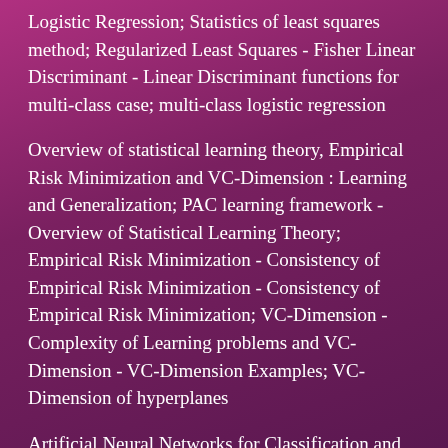Logistic Regression; Statistics of least squares method; Regularized Least Squares - Fisher Linear Discriminant - Linear Discriminant functions for multi-class case; multi-class logistic regression
Overview of statistical learning theory, Empirical Risk Minimization and VC-Dimension : Learning and Generalization; PAC learning framework - Overview of Statistical Learning Theory; Empirical Risk Minimization - Consistency of Empirical Risk Minimization - Consistency of Empirical Risk Minimization; VC-Dimension - Complexity of Learning problems and VC-Dimension - VC-Dimension Examples; VC-Dimension of hyperplanes
Artificial Neural Networks for Classification and regression : Overview of Artificial Neural Networks - Multilayer Feedforward Neural networks with Sigmoidal activation functions; - Backpropagation Algorithm; Representational abilities of feedforward networks